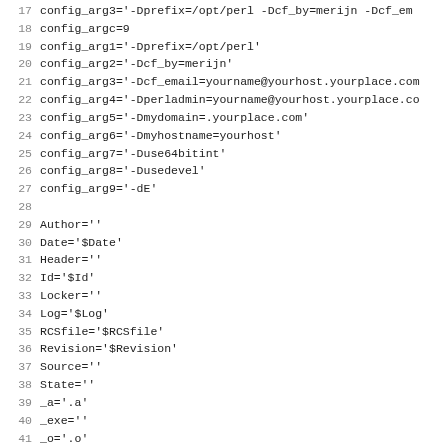17 config_arg3='-Dprefix=/opt/perl -Dcf_by=merijn -Dcf_em...
18 config_argc=9
19 config_arg1='-Dprefix=/opt/perl'
20 config_arg2='-Dcf_by=merijn'
21 config_arg3='-Dcf_email=yourname@yourhost.yourplace.com'
22 config_arg4='-Dperladmin=yourname@yourhost.yourplace.co'
23 config_arg5='-Dmydomain=.yourplace.com'
24 config_arg6='-Dmyhostname=yourhost'
25 config_arg7='-Duse64bitint'
26 config_arg8='-Dusedevel'
27 config_arg9='-dE'
28
29 Author=''
30 Date='$Date'
31 Header=''
32 Id='$Id'
33 Locker=''
34 Log='$Log'
35 RCSfile='$RCSfile'
36 Revision='$Revision'
37 Source=''
38 State=''
39 _a='.a'
40 _exe=''
41 _o='.o'
42 afs='false'
43 afsroot='/afs'
44 alignbytes='4'
45 ansi2knr=''
46 aphostname=''
47 api_revision='5'
48 api_subversion='1'
49 api_version='15'